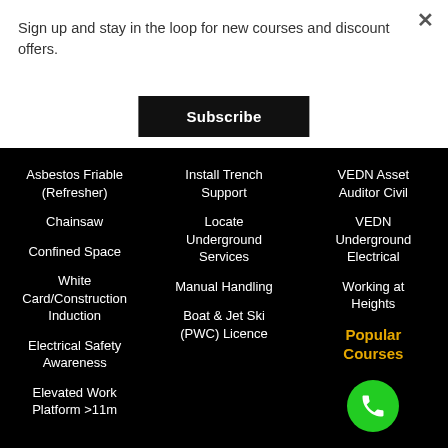Sign up and stay in the loop for new courses and discount offers.
×
Subscribe
Asbestos Friable (Refresher)
Chainsaw
Confined Space
White Card/Construction Induction
Electrical Safety Awareness
Elevated Work Platform >11m
Install Trench Support
Locate Underground Services
Manual Handling
Boat & Jet Ski (PWC) Licence
VEDN Asset Auditor Civil
VEDN Underground Electrical
Working at Heights
Popular Courses